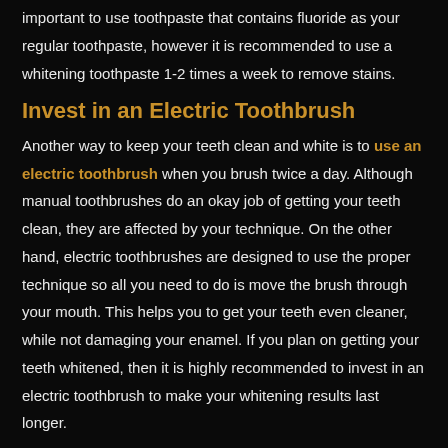important to use toothpaste that contains fluoride as your regular toothpaste, however it is recommended to use a whitening toothpaste 1-2 times a week to remove stains.
Invest in an Electric Toothbrush
Another way to keep your teeth clean and white is to use an electric toothbrush when you brush twice a day. Although manual toothbrushes do an okay job of getting your teeth clean, they are affected by your technique. On the other hand, electric toothbrushes are designed to use the proper technique so all you need to do is move the brush through your mouth. This helps you to get your teeth even cleaner, while not damaging your enamel. If you plan on getting your teeth whitened, then it is highly recommended to invest in an electric toothbrush to make your whitening results last longer.